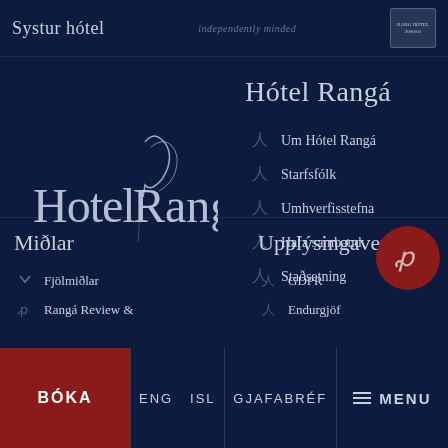Systur hótel
[Figure (logo): Hotel Rangá logo - stylized text with decorative R in white on dark navy background]
Hótel Rangá
Um Hótel Rangá
Starfsfólk
Umhverfisstefna
Hafa samband
Staðsetning
Miðlar
Fjölmiðlar
Rangá Review &
Upplýsingavernd
GDPR
Endurgjöf
[Figure (logo): Hotel Rangá red circle logo with decorative R monogram]
BÓKA  ENG  ISL  GJAFABRÉF  MENU